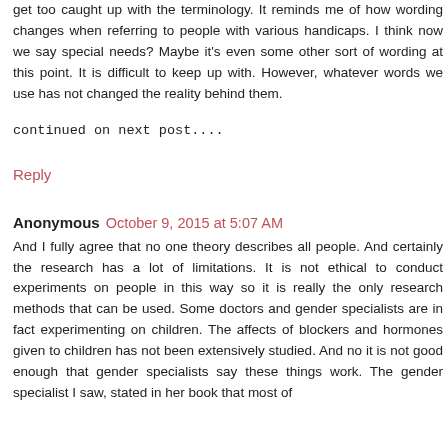get too caught up with the terminology. It reminds me of how wording changes when referring to people with various handicaps. I think now we say special needs? Maybe it's even some other sort of wording at this point. It is difficult to keep up with. However, whatever words we use has not changed the reality behind them.
continued on next post....
Reply
Anonymous October 9, 2015 at 5:07 AM
And I fully agree that no one theory describes all people. And certainly the research has a lot of limitations. It is not ethical to conduct experiments on people in this way so it is really the only research methods that can be used. Some doctors and gender specialists are in fact experimenting on children. The affects of blockers and hormones given to children has not been extensively studied. And no it is not good enough that gender specialists say these things work. The gender specialist I saw, stated in her book that most of